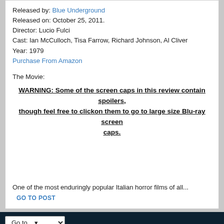Released by: Blue Underground
Released on: October 25, 2011.
Director: Lucio Fulci
Cast: Ian McCulloch, Tisa Farrow, Richard Johnson, Al Cliver
Year: 1979
Purchase From Amazon
The Movie:
WARNING: Some of the screen caps in this review contain spoilers, though feel free to clickon them to go to large size Blu-ray screen caps.
One of the most enduringly popular Italian horror films of all...
GO TO POST
Go to...
All content is copyright 2010-2022 its respective authors and is not to be reproduced without permission.
Powered by vBulletin® Version 5.6.6
Copyright © 2022 MH Sub I, LLC dba vBulletin. All rights reserved.
All times are GMT-5. This page was generated at 08:01 AM.